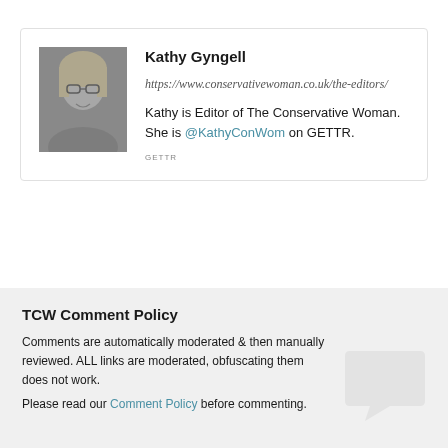[Figure (photo): Black and white portrait photo of a woman with light hair and glasses]
Kathy Gyngell
https://www.conservativewoman.co.uk/the-editors/
Kathy is Editor of The Conservative Woman. She is @KathyConWom on GETTR.
[Figure (logo): GETTR logo text]
TCW Comment Policy
Comments are automatically moderated & then manually reviewed. ALL links are moderated, obfuscating them does not work.
Please read our Comment Policy before commenting.